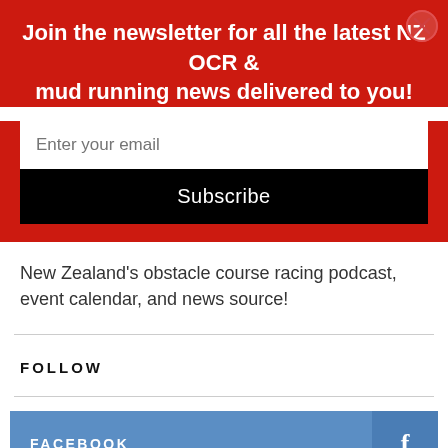Join the newsletter for all the latest NZ OCR & mud running news delivered to you!
Enter your email
Subscribe
New Zealand's obstacle course racing podcast, event calendar, and news source!
FOLLOW
FACEBOOK